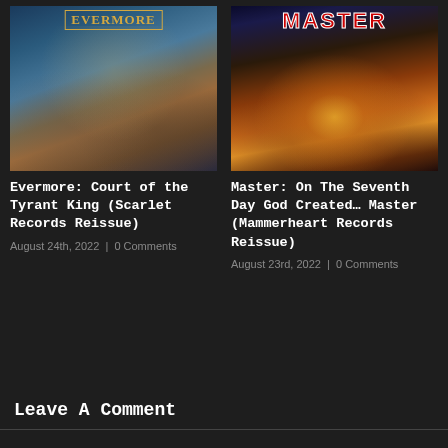[Figure (illustration): Album cover for Evermore: Court of the Tyrant King - fantasy throne room scene with robed figures]
Evermore: Court of the Tyrant King (Scarlet Records Reissue)
August 24th, 2022 | 0 Comments
[Figure (illustration): Album cover for Master: On The Seventh Day God Created... Master - demonic face with light beams and red MASTER text]
Master: On The Seventh Day God Created... Master (Mammerheart Records Reissue)
August 23rd, 2022 | 0 Comments
Leave A Comment